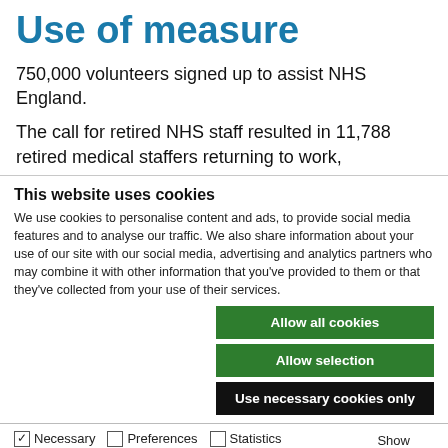Use of measure
750,000 volunteers signed up to assist NHS England.
The call for retired NHS staff resulted in 11,788 retired medical staffers returning to work,
This website uses cookies
We use cookies to personalise content and ads, to provide social media features and to analyse our traffic. We also share information about your use of our site with our social media, advertising and analytics partners who may combine it with other information that you've provided to them or that they've collected from your use of their services.
Allow all cookies
Allow selection
Use necessary cookies only
Necessary  Preferences  Statistics  Marketing  Show details